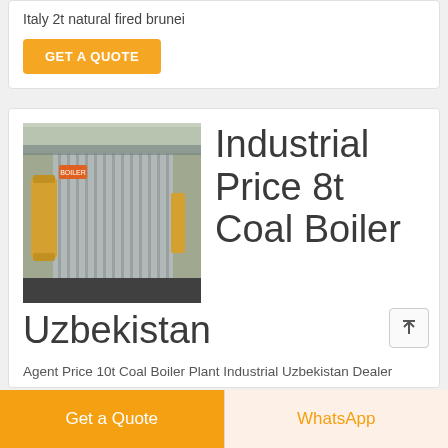Italy 2t natural fired brunei
GET A QUOTE
[Figure (photo): Industrial coal boiler unit with metallic cladding and yellow pipes in a factory setting]
Industrial Price 8t Coal Boiler Uzbekistan
Agent Price 10t Coal Boiler Plant Industrial Uzbekistan Dealer Industrial 8t Coal Boiler Kazakhstan Related Information light oil fired boiler in uzbekistan Oil Condensing - 1 ton Diesel Fired Steam 100kw steam Posted on April 23 gas condensing and 3 Pass hot
Get a Quote    WhatsApp